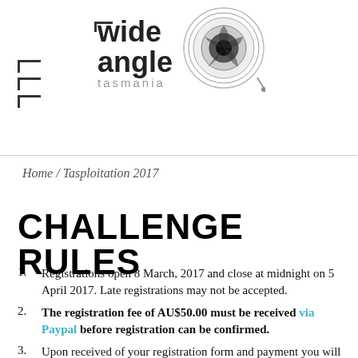wide angle tasmania [logo]
Home / Tasploitation 2017
CHALLENGE RULES
Registrations open 8 March, 2017 and close at midnight on 5 April 2017. Late registrations may not be accepted.
The registration fee of AU$50.00 must be received via Paypal before registration can be confirmed.
Upon received of your registration form and payment you will receive an email confirming